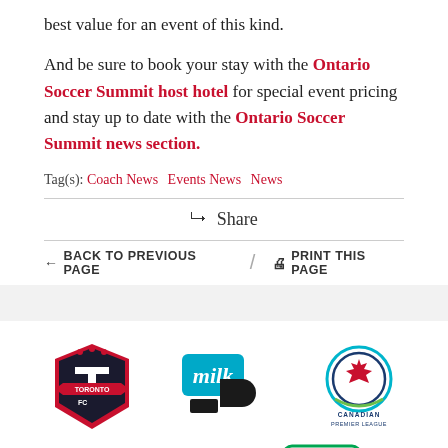best value for an event of this kind.
And be sure to book your stay with the Ontario Soccer Summit host hotel for special event pricing and stay up to date with the Ontario Soccer Summit news section.
Tag(s): Coach News  Events News  News
Share
← BACK TO PREVIOUS PAGE   /   🖨 PRINT THIS PAGE
[Figure (logo): Toronto FC shield logo]
[Figure (logo): Milk logo (milk with blue D shape)]
[Figure (logo): Canadian Premier League circular logo]
[Figure (logo): Partially visible logos at bottom]
[Figure (logo): GO Transit logo partially visible]